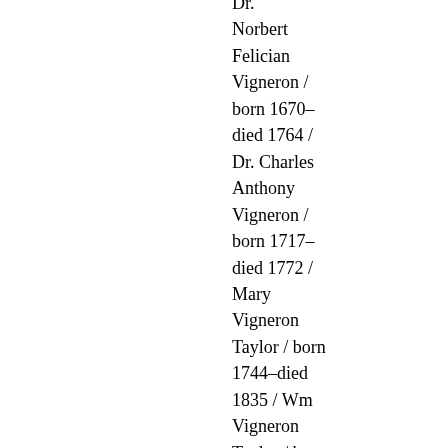Dr. Norbert Felician Vigneron / born 1670–died 1764 / Dr. Charles Anthony Vigneron / born 1717–died 1772 / Mary Vigneron Taylor / born 1744–died 1835 / Wm Vigneron Taylor / born 1780–died1858 / Harriet Taylor Gilpin / born – died Sept 7, 1888 / Laura Taylor Carey / born 1842–died 1925 /